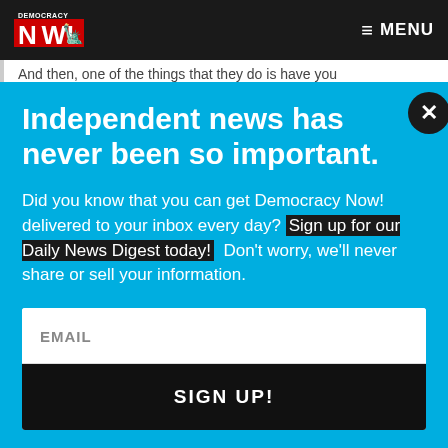Democracy Now! — MENU
And then, one of the things that they do is have you
Independent news has never been so important.
Did you know that you can get Democracy Now! delivered to your inbox every day? Sign up for our Daily News Digest today! Don't worry, we'll never share or sell your information.
EMAIL
SIGN UP!